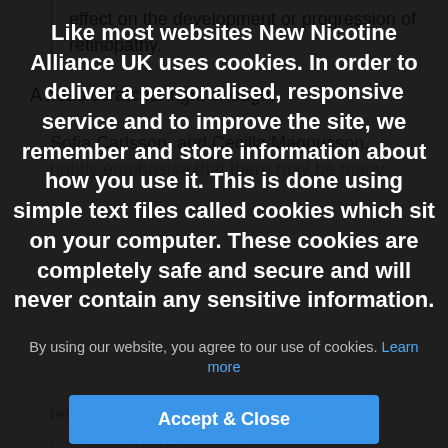effect on the development or progression of retinopathy.
A head scratcher right enough.
Sofia Carlsson, and Cecilia Magnusson, rightly emphasise that there may be many
Like most websites New Nicotine Alliance UK uses cookies. In order to deliver a personalised, responsive service and to improve the site, we remember and store information about how you use it. This is done using simple text files called cookies which sit on your computer. These cookies are completely safe and secure and will never contain any sensitive information.
By using our website, you agree to our use of cookies. Learn more
Accept & Close